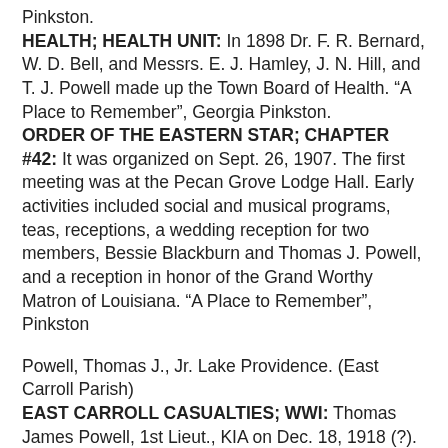Pinkston.
HEALTH; HEALTH UNIT: In 1898 Dr. F. R. Bernard, W. D. Bell, and Messrs. E. J. Hamley, J. N. Hill, and T. J. Powell made up the Town Board of Health. “A Place to Remember”, Georgia Pinkston.
ORDER OF THE EASTERN STAR; CHAPTER #42: It was organized on Sept. 26, 1907. The first meeting was at the Pecan Grove Lodge Hall. Early activities included social and musical programs, teas, receptions, a wedding reception for two members, Bessie Blackburn and Thomas J. Powell, and a reception in honor of the Grand Worthy Matron of Louisiana. “A Place to Remember”, Pinkston
Powell, Thomas J., Jr. Lake Providence. (East Carroll Parish)
EAST CARROLL CASUALTIES; WWI: Thomas James Powell, 1st Lieut., KIA on Dec. 18, 1918 (?).
The American Legion Post #37, Powell-Martin-Barrett, was named for three WWI service men killed: Thomas James Powell was one of these men.. “A Place to Remember”, Georgia Pinkston.
Thomas J. Powell, Jr. First Lieutenant, U.S. Army 358th